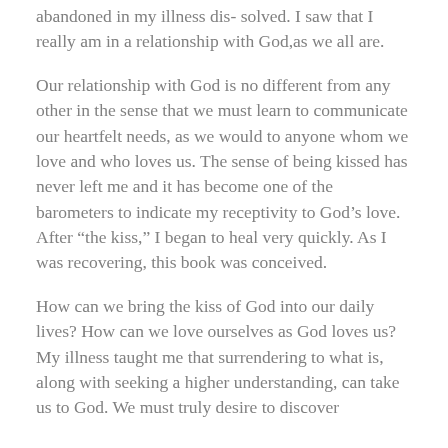abandoned in my illness dis- solved. I saw that I really am in a relationship with God,as we all are.
Our relationship with God is no different from any other in the sense that we must learn to communicate our heartfelt needs, as we would to anyone whom we love and who loves us. The sense of being kissed has never left me and it has become one of the barometers to indicate my receptivity to God's love. After “the kiss,” I began to heal very quickly. As I was recovering, this book was conceived.
How can we bring the kiss of God into our daily lives? How can we love ourselves as God loves us? My illness taught me that surrendering to what is, along with seeking a higher understanding, can take us to God. We must truly desire to discover